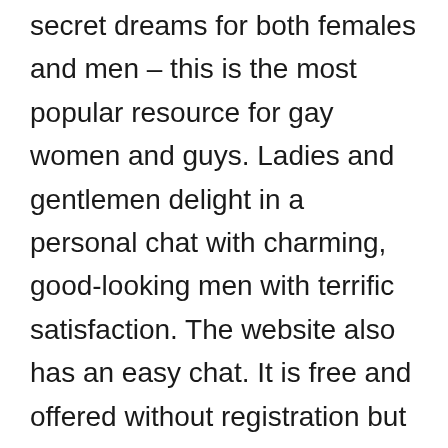secret dreams for both females and men – this is the most popular resource for gay women and guys. Ladies and gentlemen delight in a personal chat with charming, good-looking men with terrific satisfaction. The website also has an easy chat. It is free and offered without registration but is suitable for informational functions just. You can even write to models in a routine chat, however they see the visitor status and choose to spend more time with authorized users. No cam resource offers such an option of young men and older males. The variety of